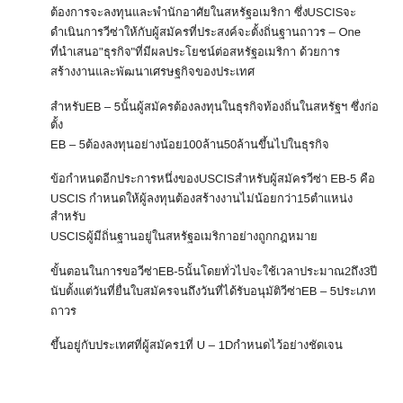ต้องการจะลงทุนและพำนักอาศัยในสหรัฐอเมริกา ซึ่งUSCISจะ ดำเนินการวีซ่าให้กับผู้สมัครที่ประสงค์จะตั้งถิ่นฐานถาวร – One ที่นำเสนอ"ธุรกิจ"ที่มีผลประโยชน์ต่อสหรัฐอเมริกา ด้วยการ สร้างงานและพัฒนาเศรษฐกิจของประเทศ
สำหรับEB – 5นั้นผู้สมัครต้องลงทุนในธุรกิจท้องถิ่นในสหรัฐฯ ซึ่งก่อตั้ง EB – 5ต้องลงทุนอย่างน้อย100ล้าน50ล้านขึ้นไปในธุรกิจ
ข้อกำหนดอีกประการหนึ่งของUSCISสำหรับผู้สมัครวีซ่า EB-5 คือ USCIS กำหนดให้ผู้ลงทุนต้องสร้างงานไม่น้อยกว่า15ตำแหน่งสำหรับ USCISผู้มีถิ่นฐานอยู่ในสหรัฐอเมริกาอย่างถูกกฎหมาย
ขั้นตอนในการขอวีซ่าEB-5นั้นโดยทั่วไปจะใช้เวลาประมาณ2ถึง3ปี นับตั้งแต่วันที่ยื่นใบสมัครจนถึงวันที่ได้รับอนุมัติวีซ่าEB – 5ประเภท ถาวร
ขึ้นอยู่กับประเทศที่ผู้สมัคร1ที่ U – 1Dกำหนดไว้อย่างชัดเจน